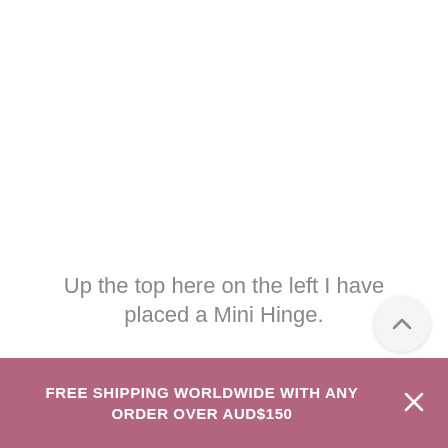Up the top here on the left I have placed a Mini Hinge.
FREE SHIPPING WORLDWIDE WITH ANY ORDER OVER AUD$150